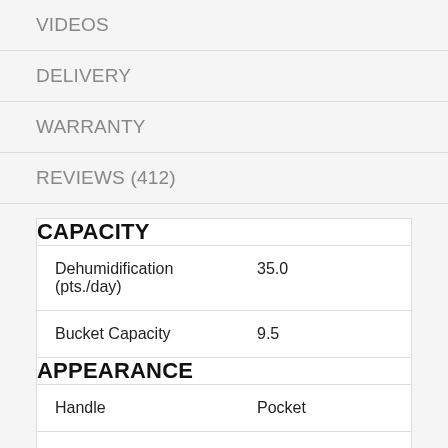VIDEOS
DELIVERY
WARRANTY
REVIEWS (412)
| Attribute | Value |
| --- | --- |
| CAPACITY |  |
| Dehumidification (pts./day) | 35.0 |
| Bucket Capacity | 9.5 |
| APPEARANCE |  |
| Handle | Pocket |
| Color Appearance | White |